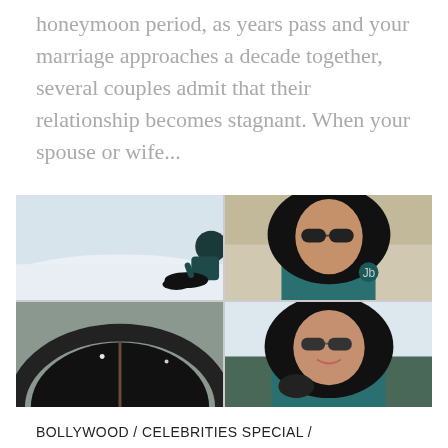honeymoon period, as years pass and your marriage approaches a decade together, several couples admit that their relationship becomes stagnant. When your spouse or wife...
[Figure (photo): A 2x2 grid of photos showing a woman in a teal winter jacket with black fur hood in a snowy setting. Top-left: woman sitting on snow slope. Top-right: close-up portrait with sunglasses and fur-trimmed hood. Bottom-left: top-down view of woman's head with snow in hair. Bottom-right: woman in teal jacket with sunglasses smiling.]
BOLLYWOOD / CELEBRITIES SPECIAL /